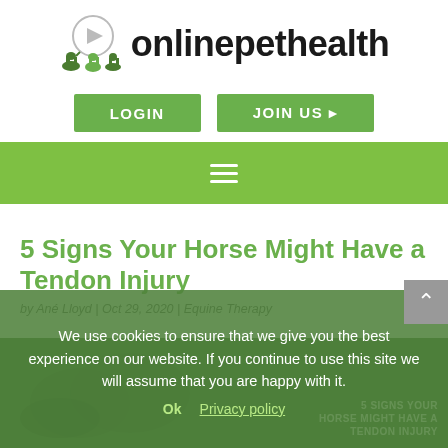[Figure (logo): onlinepethealth logo with animal silhouettes and play button icon]
[Figure (screenshot): LOGIN and JOIN US navigation buttons in green]
[Figure (screenshot): Green navigation bar with hamburger menu icon]
5 Signs Your Horse Might Have a Tendon Injury
by Ané Lloyd | Oct 29, 2020 | Equine Therapy
We use cookies to ensure that we give you the best experience on our website. If you continue to use this site we will assume that you are happy with it.
Ok   Privacy policy
[Figure (photo): Photo of person treating horse, with text overlay: 5 SIGNS YOUR HORSE MIGHT HAVE A TENDON INJURY]